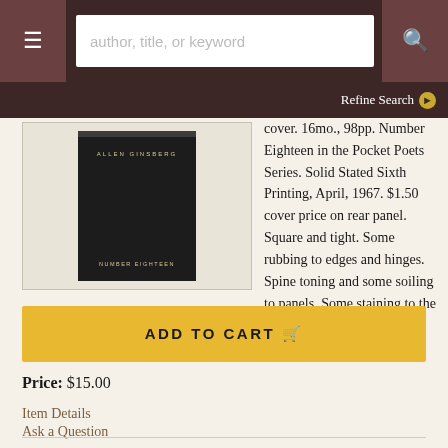author, title, or keyword
Refine Search
[Figure (photo): Book cover showing Allen Ginsberg, Number Eighteen in the Pocket Poets Series]
cover. 16mo., 98pp. Number Eighteen in the Pocket Poets Series. Solid Stated Sixth Printing, April, 1967. $1.50 cover price on rear panel. Square and tight. Some rubbing to edges and hinges. Spine toning and some soiling to panels, Some staining to the tops..... More ›
ADD TO CART
Price: $15.00
Item Details
Ask a Question